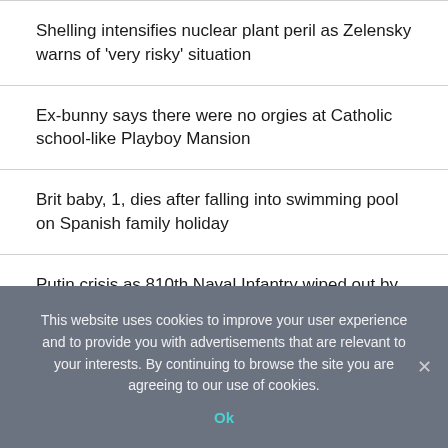Shelling intensifies nuclear plant peril as Zelensky warns of ‘very risky’ situation
Ex-bunny says there were no orgies at Catholic school-like Playboy Mansion
Brit baby, 1, dies after falling into swimming pool on Spanish family holiday
Putin crisis as 810th Naval Infantry wiped out by mass resignations and elite Ukrainians
Colorado to get $25M federal infusion to clean up orphaned oil, gas sites
This website uses cookies to improve your user experience and to provide you with advertisements that are relevant to your interests. By continuing to browse the site you are agreeing to our use of cookies.
Ok